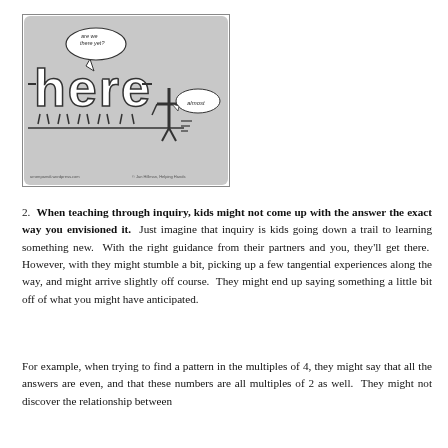[Figure (illustration): Cartoon illustration showing the word 'here' in large block letters with legs walking, a speech bubble saying 'are we there yet?', a smaller speech bubble on a running figure saying 'almost', and a horizontal dashed line. Website credit text at bottom: arrompamdi.wordpress.com and attribution text on right.]
2. When teaching through inquiry, kids might not come up with the answer the exact way you envisioned it. Just imagine that inquiry is kids going down a trail to learning something new. With the right guidance from their partners and you, they'll get there. However, with they might stumble a bit, picking up a few tangential experiences along the way, and might arrive slightly off course. They might end up saying something a little bit off of what you might have anticipated.
For example, when trying to find a pattern in the multiples of 4, they might say that all the answers are even, and that these numbers are all multiples of 2 as well. They might not discover the relationship between